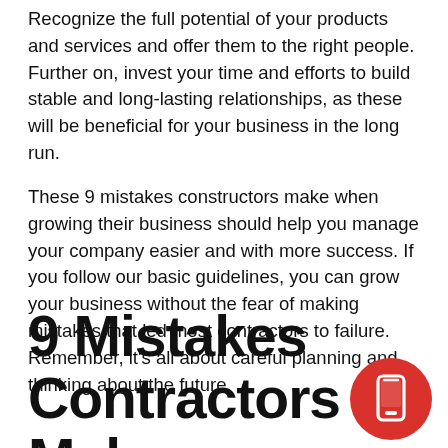Recognize the full potential of your products and services and offer them to the right people. Further on, invest your time and efforts to build stable and long-lasting relationships, as these will be beneficial for your business in the long run.
These 9 mistakes constructors make when growing their business should help you manage your company easier and with more success. If you follow our basic guidelines, you can grow your business without the fear of making mistakes that led most contractors to failure. Remember, it's all about careful planning and thinking about the future.
9 Mistakes Contractors Make When Growing Their
[Figure (illustration): Red circle button with a white phone/mobile device icon]